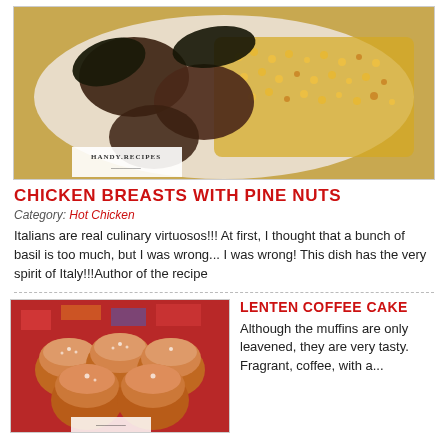[Figure (photo): A white plate with chicken breasts, pine nuts, corn, beans, and dark basil leaves. HANDY.RECIPES logo in corner.]
CHICKEN BREASTS WITH PINE NUTS
Category: Hot Chicken
Italians are real culinary virtuosos!!! At first, I thought that a bunch of basil is too much, but I was wrong... I was wrong! This dish has the very spirit of Italy!!!Author of the recipe
[Figure (photo): Six muffins in paper cups with powdered sugar on top, arranged on a colorful cloth. Recipe site logo in corner.]
LENTEN COFFEE CAKE
Although the muffins are only leavened, they are very tasty. Fragrant, coffee, with a...